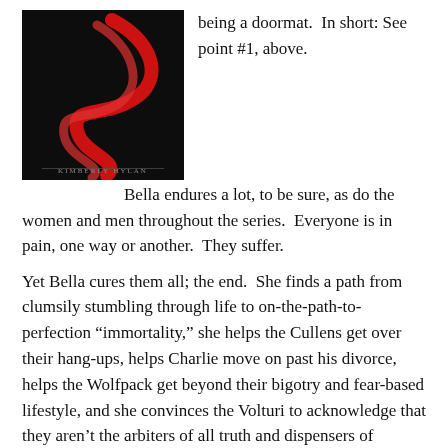[Figure (photo): Book cover image — dark background with red ribbon swirl design, author name at bottom in small text]
being a doormat.  In short: See point #1, above.
Bella endures a lot, to be sure, as do the women and men throughout the series.  Everyone is in pain, one way or another.  They suffer.
Yet Bella cures them all; the end.  She finds a path from clumsily stumbling through life to on-the-path-to-perfection “immortality,” she helps the Cullens get over their hang-ups, helps Charlie move on past his divorce, helps the Wolfpack get beyond their bigotry and fear-based lifestyle, and she convinces the Volturi to acknowledge that they aren’t the arbiters of all truth and dispensers of ultimate justice for everyone on the planet so, you know, relax Volturi.
Note that Bella doesn’t replace the Volturi in leading the world (or at least, isn’t trying to), hence her embarrassment at the end of BD when she acknowledges she is the superhero “of the